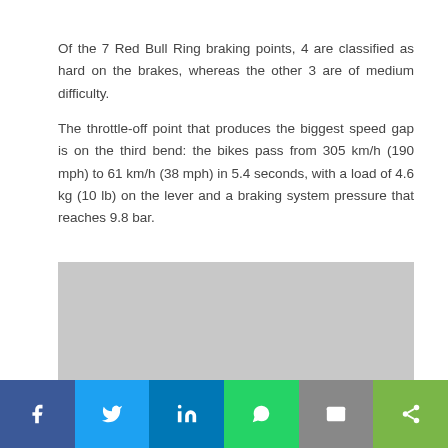Of the 7 Red Bull Ring braking points, 4 are classified as hard on the brakes, whereas the other 3 are of medium difficulty.
The throttle-off point that produces the biggest speed gap is on the third bend: the bikes pass from 305 km/h (190 mph) to 61 km/h (38 mph) in 5.4 seconds, with a load of 4.6 kg (10 lb) on the lever and a braking system pressure that reaches 9.8 bar.
[Figure (illustration): Stylized illustration of motorcycle riders leaning into a bend, wearing blue/black/white gear, on a light grey background.]
Social sharing bar with Facebook, Twitter, LinkedIn, WhatsApp, Email, Share buttons